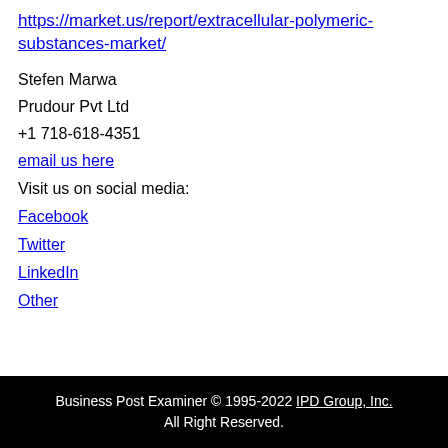https://market.us/report/extracellular-polymeric-substances-market/
Stefen Marwa
Prudour Pvt Ltd
+1 718-618-4351
email us here
Visit us on social media:
Facebook
Twitter
LinkedIn
Other
Business Post Examiner © 1995-2022 IPD Group, Inc. All Right Reserved.